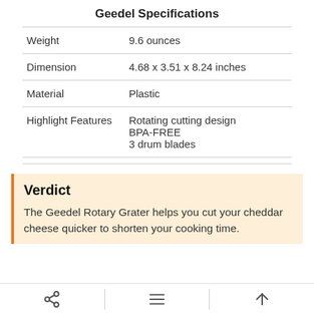Geedel Specifications
| Weight | 9.6 ounces |
| Dimension | 4.68 x 3.51 x 8.24 inches |
| Material | Plastic |
| Highlight Features | Rotating cutting design
BPA-FREE
3 drum blades |
Verdict
The Geedel Rotary Grater helps you cut your cheddar cheese quicker to shorten your cooking time.
Share | Menu | Up